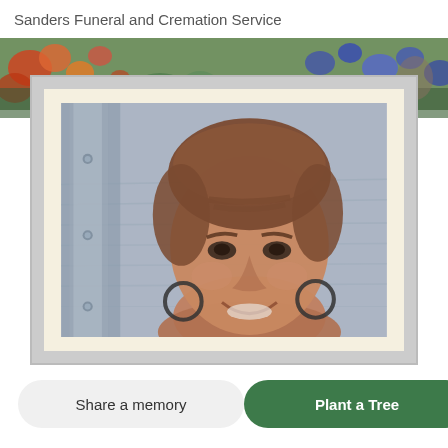Sanders Funeral and Cremation Service
[Figure (photo): Colorful floral banner background image with flowers and outdoor scenery]
[Figure (photo): Portrait photo of a smiling middle-aged woman with short reddish-brown hair, wearing hoop earrings, photographed outdoors near water with a metal post visible on the left side, displayed in a cream-matted frame with grey border]
Share a memory
Plant a Tree